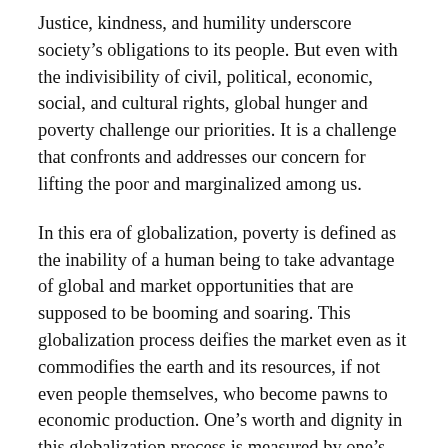Justice, kindness, and humility underscore society's obligations to its people. But even with the indivisibility of civil, political, economic, social, and cultural rights, global hunger and poverty challenge our priorities. It is a challenge that confronts and addresses our concern for lifting the poor and marginalized among us.
In this era of globalization, poverty is defined as the inability of a human being to take advantage of global and market opportunities that are supposed to be booming and soaring. This globalization process deifies the market even as it commodifies the earth and its resources, if not even people themselves, who become pawns to economic production. One's worth and dignity in this globalization process is measured by one's ability to contribute to the gains of the market.